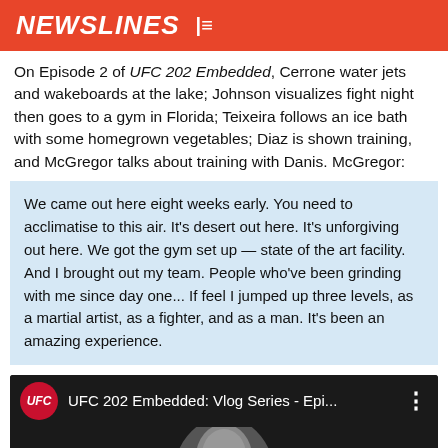NEWSLINES
On Episode 2 of UFC 202 Embedded, Cerrone water jets and wakeboards at the lake; Johnson visualizes fight night then goes to a gym in Florida; Teixeira follows an ice bath with some homegrown vegetables; Diaz is shown training, and McGregor talks about training with Danis. McGregor:
We came out here eight weeks early. You need to acclimatise to this air. It’s desert out here. It’s unforgiving out here. We got the gym set up — state of the art facility. And I brought out my team. People who’ve been grinding with me since day one... If feel I jumped up three levels, as a martial artist, as a fighter, and as a man. It’s been an amazing experience.
[Figure (screenshot): YouTube video thumbnail showing UFC 202 Embedded: Vlog Series - Epi... with UFC logo and a dark image of a person]